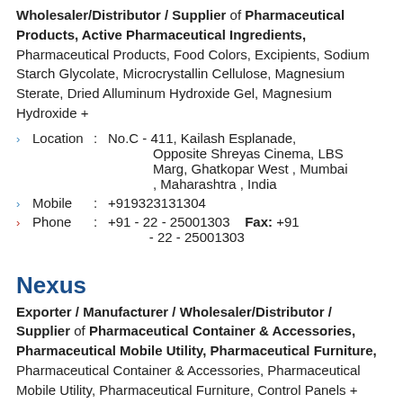Wholesaler/Distributor / Supplier of Pharmaceutical Products, Active Pharmaceutical Ingredients, Pharmaceutical Products, Food Colors, Excipients, Sodium Starch Glycolate, Microcrystallin Cellulose, Magnesium Sterate, Dried Alluminum Hydroxide Gel, Magnesium Hydroxide +
Location : No.C - 411, Kailash Esplanade, Opposite Shreyas Cinema, LBS Marg, Ghatkopar West , Mumbai , Maharashtra , India
Mobile : +919323131304
Phone : +91 - 22 - 25001303  Fax: +91 - 22 - 25001303
Nexus
Exporter / Manufacturer / Wholesaler/Distributor / Supplier of Pharmaceutical Container & Accessories, Pharmaceutical Mobile Utility, Pharmaceutical Furniture, Pharmaceutical Container & Accessories, Pharmaceutical Mobile Utility, Pharmaceutical Furniture, Control Panels +
Location : No. 73, Sainath Wadi, Gala No. 3, Link Road, Tilak Nagar,